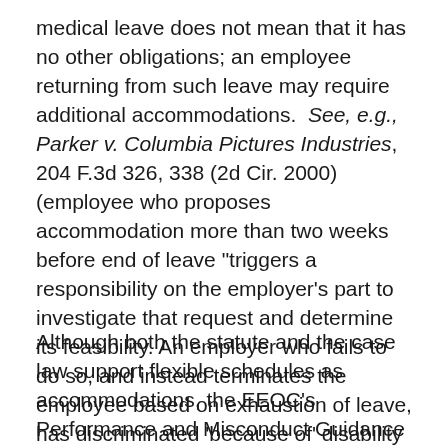medical leave does not mean that it has no other obligations; an employee returning from such leave may require additional accommodations.  See, e.g., Parker v. Columbia Pictures Industries, 204 F.3d 326, 338 (2d Cir. 2000) (employee who proposes accommodation more than two weeks before end of leave "triggers a responsibility on the employer's part to investigate that request and determine its feasibility. An employer who fails to do so, and instead terminates the employee based on exhaustion of leave, has discriminated 'because of' disability within the meaning of the ADA.").
Although both the statute and the case law support flexible schedules as accommodations, the EEOC's Performance and Misconduct Guidance has created confusion in this area as well, in much the same way that it did with regard to the flexible leave area…